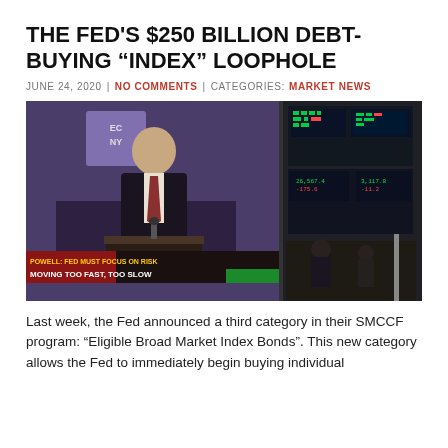THE FED'S $250 BILLION DEBT-BUYING “INDEX” LOOPHOLE
JUNE 24, 2020 | NO COMMENTS | CATEGORIES: MARKET NEWS
[Figure (photo): A large TV screen at the NYSE showing Jerome Powell speaking at a podium with a lower-third graphic reading 'POWELL: FED MUST FOCUS ON RISK MOVING TOO FAST, TOO SLOW', with stock ticker displays visible in the background on the trading floor.]
Last week, the Fed announced a third category in their SMCCF program: “Eligible Broad Market Index Bonds”. This new category allows the Fed to immediately begin buying individual